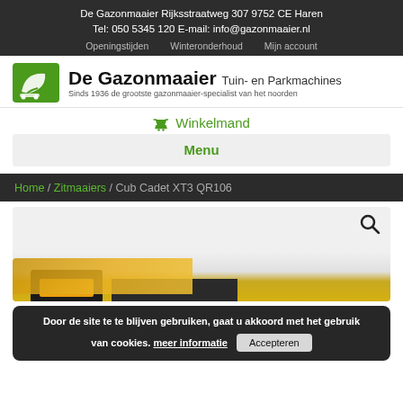De Gazonmaaier Rijksstraatweg 307 9752 CE Haren
Tel: 050 5345 120 E-mail: info@gazonmaaier.nl
Openingstijden   Winteronderhoud   Mijn account
[Figure (logo): De Gazonmaaier logo - green leaf icon with company name and tagline: Tuin- en Parkmachines, Sinds 1936 de grootste gazonmaaier-specialist van het noorden]
🛒 Winkelmand
Menu
Home / Zitmaaiers / Cub Cadet XT3 QR106
[Figure (photo): Product photo of Cub Cadet XT3 QR106 riding lawn mower, partially visible at bottom, yellow/black color]
Door de site te te blijven gebruiken, gaat u akkoord met het gebruik van cookies. meer informatie   Accepteren